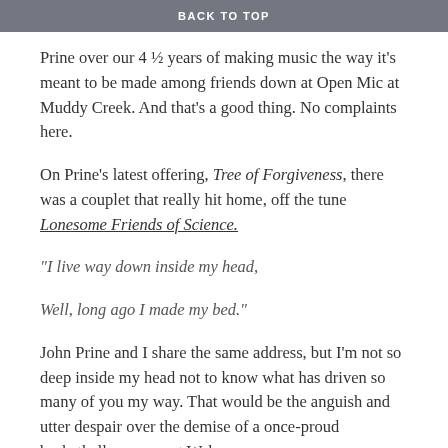BACK TO TOP
Prine over our 4 ½ years of making music the way it's meant to be made among friends down at Open Mic at Muddy Creek. And that's a good thing. No complaints here.
On Prine's latest offering, Tree of Forgiveness, there was a couplet that really hit home, off the tune Lonesome Friends of Science.
“I live way down inside my head,
Well, long ago I made my bed.”
John Prine and I share the same address, but I’m not so deep inside my head not to know what has driven so many of you my way. That would be the anguish and utter despair over the demise of a once-proud basketball program at Wake.